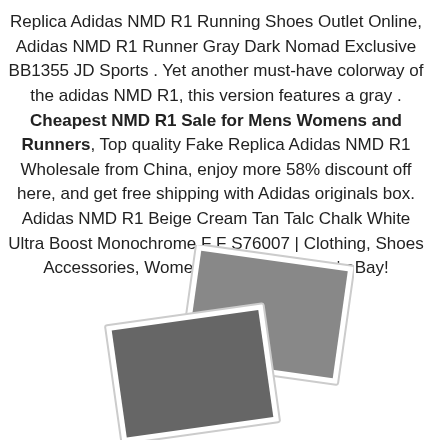Replica Adidas NMD R1 Running Shoes Outlet Online, Adidas NMD R1 Runner Gray Dark Nomad Exclusive BB1355 JD Sports . Yet another must-have colorway of the adidas NMD R1, this version features a gray . Cheapest NMD R1 Sale for Mens Womens and Runners, Top quality Fake Replica Adidas NMD R1 Wholesale from China, enjoy more 58% discount off here, and get free shipping with Adidas originals box. Adidas NMD R1 Beige Cream Tan Talc Chalk White Ultra Boost Monochrome F F S76007 | Clothing, Shoes Accessories, Women's Shoes, Athletic | eBay!
[Figure (photo): Two overlapping blurred gray placeholder photo thumbnails arranged diagonally]